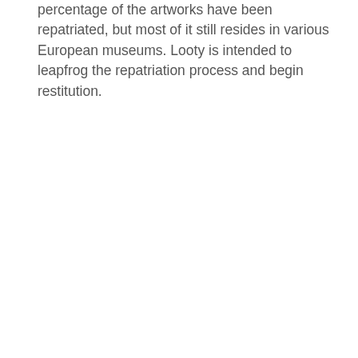percentage of the artworks have been repatriated, but most of it still resides in various European museums. Looty is intended to leapfrog the repatriation process and begin restitution.